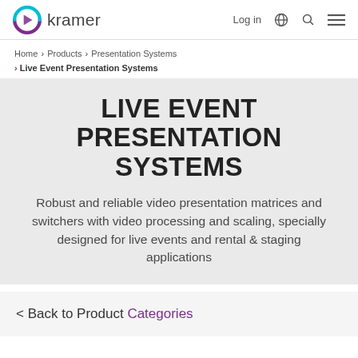kramer | Log in | (globe) (search) (menu)
Home > Products > Presentation Systems
> Live Event Presentation Systems
LIVE EVENT PRESENTATION SYSTEMS
Robust and reliable video presentation matrices and switchers with video processing and scaling, specially designed for live events and rental & staging applications
< Back to Product Categories